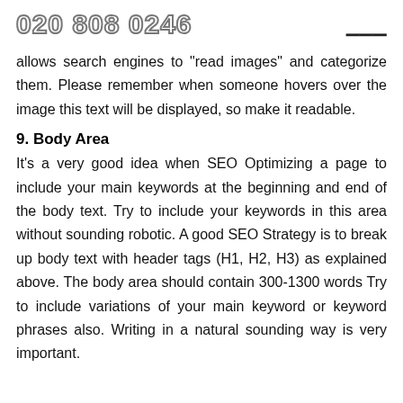020 808 0246
allows search engines to "read images" and categorize them. Please remember when someone hovers over the image this text will be displayed, so make it readable.
9. Body Area
It's a very good idea when SEO Optimizing a page to include your main keywords at the beginning and end of the body text. Try to include your keywords in this area without sounding robotic. A good SEO Strategy is to break up body text with header tags (H1, H2, H3) as explained above. The body area should contain 300-1300 words Try to include variations of your main keyword or keyword phrases also. Writing in a natural sounding way is very important.